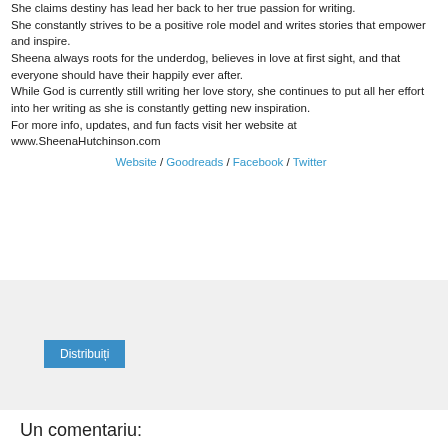She claims destiny has lead her back to her true passion for writing. She constantly strives to be a positive role model and writes stories that empower and inspire. Sheena always roots for the underdog, believes in love at first sight, and that everyone should have their happily ever after. While God is currently still writing her love story, she continues to put all her effort into her writing as she is constantly getting new inspiration. For more info, updates, and fun facts visit her website at www.SheenaHutchinson.com
Website / Goodreads / Facebook / Twitter
[Figure (other): Share/Distribuiti button area with light gray background]
Un comentariu: